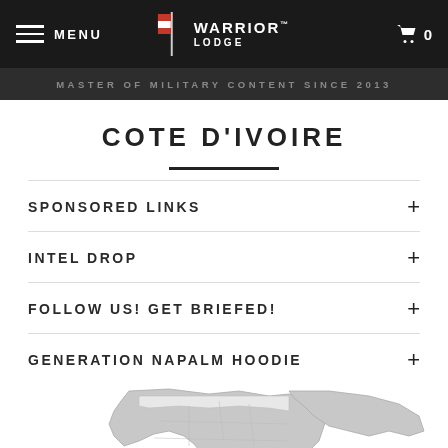MENU | WARRIOR LODGE | 0
MASTER OF MILITARY CONTENT SINCE 2013
COTE D'IVOIRE
SPONSORED LINKS
INTEL DROP
FOLLOW US! GET BRIEFED!
GENERATION NAPALM HOODIE
[Figure (map): Grayscale map of Africa/Middle East region]